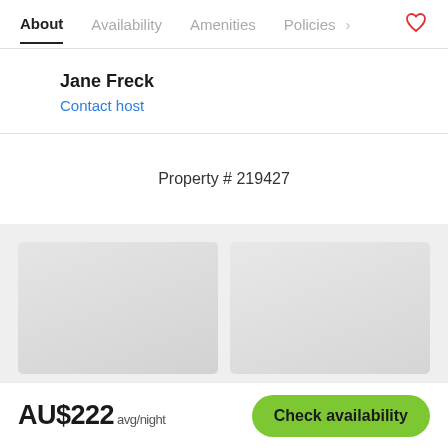About  Availability  Amenities  Policies
Jane Freck
Contact host
Property # 219427
[Figure (screenshot): Two placeholder thumbnail image boxes in a gray banner area]
AU$222 avg/night  Check availability